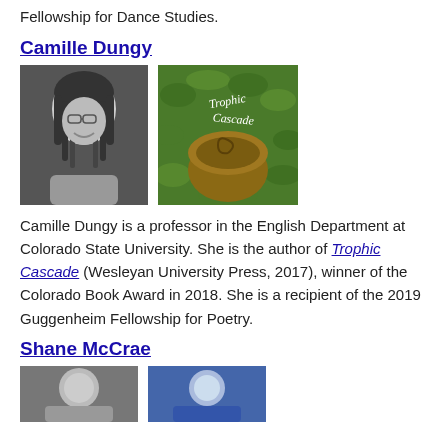Fellowship for Dance Studies.
Camille Dungy
[Figure (photo): Black and white portrait photo of Camille Dungy, a woman with dreadlocks and glasses, smiling]
[Figure (photo): Book cover of 'Trophic Cascade' showing a tree stump with ferns and the title written in cursive]
Camille Dungy is a professor in the English Department at Colorado State University. She is the author of Trophic Cascade (Wesleyan University Press, 2017), winner of the Colorado Book Award in 2018. She is a recipient of the 2019 Guggenheim Fellowship for Poetry.
Shane McCrae
[Figure (photo): Headshot photo of Shane McCrae]
[Figure (photo): Second photo related to Shane McCrae]